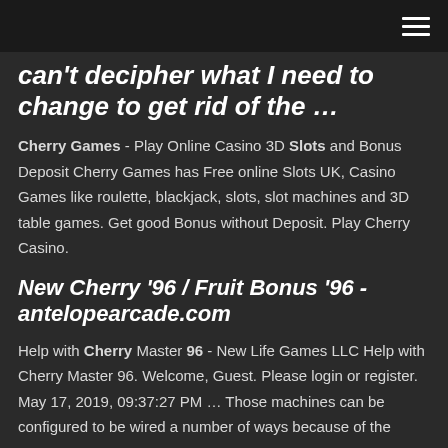[hamburger menu icon]
can't decipher what I need to change to get rid of the …
Cherry Games - Play Online Casino 3D Slots and Bonus Deposit Cherry Games has Free online Slots UK, Casino Games like roulette, blackjack, slots, slot machines and 3D table games. Get good Bonus without Deposit. Play Cherry Casino.
New Cherry '96 / Fruit Bonus '96 - antelopearcade.com
Help with Cherry Master 96 - New Life Games LLC Help with Cherry Master 96. Welcome, Guest. Please login or register. May 17, 2019, 09:37:27 PM … Those machines can be configured to be wired a number of ways because of the